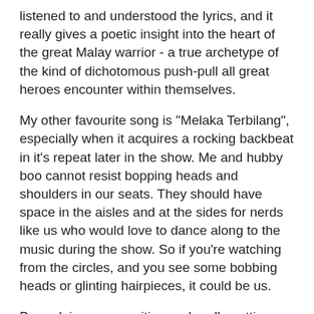listened to and understood the lyrics, and it really gives a poetic insight into the heart of the great Malay warrior - a true archetype of the kind of dichotomous push-pull all great heroes encounter within themselves.
My other favourite song is "Melaka Terbilang", especially when it acquires a rocking backbeat in it's repeat later in the show. Me and hubby boo cannot resist bopping heads and shoulders in our seats. They should have space in the aisles and at the sides for nerds like us who would love to dance along to the music during the show. So if you're watching from the circles, and you see some bobbing heads or glinting hairpieces, it could be us.
Been doing some writing and really getting into it again - although it was a long, slow restarting process. I keep forgetting how much I enjoy writing and wish I could just write and not have to bother with all the yukky stressful stuff like company overheads and trying to create solid business relationships with silly people.
Sumolah is in its final run of shoot. We are now shooting at